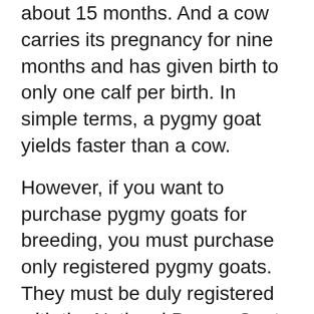about 15 months. And a cow carries its pregnancy for nine months and has given birth to only one calf per birth. In simple terms, a pygmy goat yields faster than a cow.
However, if you want to purchase pygmy goats for breeding, you must purchase only registered pygmy goats. They must be duly registered with the National Pygmy Goat Association and have proven bloodlines. These quality pygmy goats can be gotten for around $300 to $800.
What is the Life Expectancy of a Pygmy